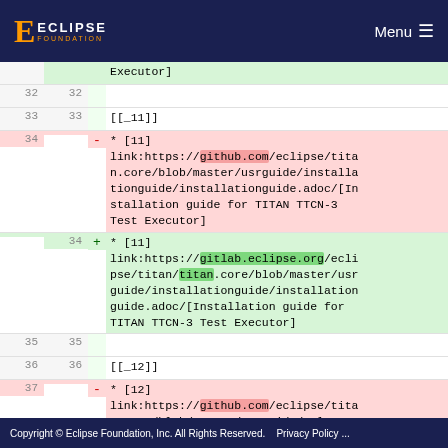Eclipse Foundation | Menu
Executor]
32  32
33  33  [[_11]]
34      - * [11] link:https://github.com/eclipse/titan.core/blob/master/usrguide/installationguide/installationguide.adoc/[Installation guide for TITAN TTCN-3 Test Executor]
    34  + * [11] link:https://gitlab.eclipse.org/eclipse/titan/titan.core/blob/master/usrguide/installationguide/installationguide.adoc/[Installation guide for TITAN TTCN-3 Test Executor]
35  35
36  36  [[_12]]
37      - * [12] link:https://github.com/eclipse/titan.core/blob/master/usrguide/releasen
Copyright © Eclipse Foundation, Inc. All Rights Reserved.    Privacy Policy ...